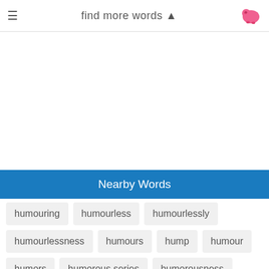find more words
Nearby Words
humouring
humourless
humourlessly
humourlessness
humours
hump
humour
humors
humorous series
humorousness
humorous moment
humorously